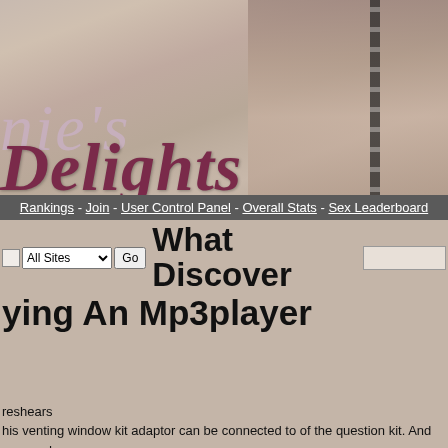[Figure (illustration): Website banner header with text showing 'nie's Delights' in italic serif font over a beige/taupe background with decorative imagery and a film strip element on the right side.]
Rankings - Join - User Control Panel - Overall Stats - Sex Leaderboard
What Discover ying An Mp3player
reshears
his venting window kit adaptor can be connected to of the question kit. And some ada rt with some kind of special tools. You'll feel breezy in state.
nisricard.net/index.php?action=profile;u=36935
ex
1-07-22